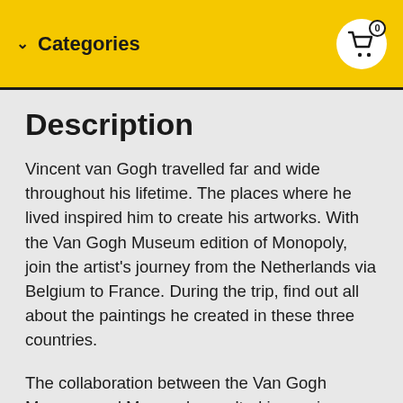Categories
Description
Vincent van Gogh travelled far and wide throughout his lifetime. The places where he lived inspired him to create his artworks. With the Van Gogh Museum edition of Monopoly, join the artist's journey from the Netherlands via Belgium to France. During the trip, find out all about the paintings he created in these three countries.
The collaboration between the Van Gogh Museum and Monopoly resulted in a unique edition of the board game. The board consists of paintings by Vincent van Gogh, and his famous work The Yellow House (The Street) forms the basis for the board game. Two exclusive tokens – only available with this edition – were also designed: a paint tube and the bed from Van Gogh's painting The Bedroom. A booklet with facts and